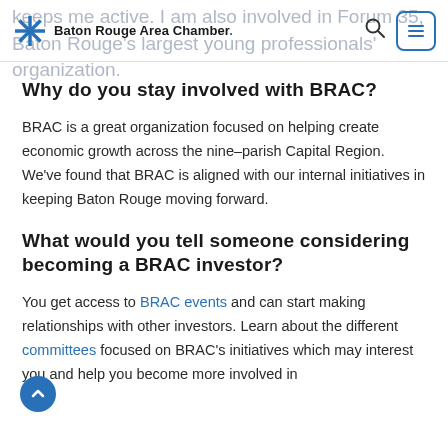keeps me active. I am also involved in Forum 35, Baton Rouge's largest young professionals' organization.
Why do you stay involved with BRAC?
BRAC is a great organization focused on helping create economic growth across the nine–parish Capital Region. We've found that BRAC is aligned with our internal initiatives in keeping Baton Rouge moving forward.
What would you tell someone considering becoming a BRAC investor?
You get access to BRAC events and can start making relationships with other investors. Learn about the different committees focused on BRAC's initiatives which may interest you and help you become more involved in